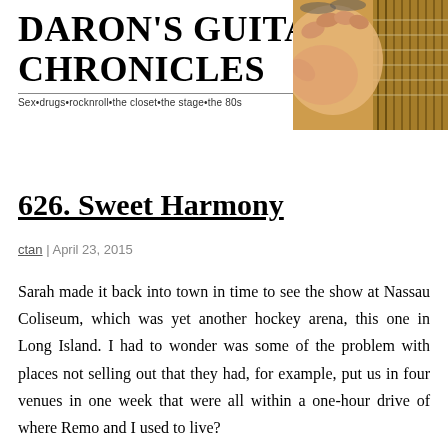DARON'S GUITAR CHRONICLES
Sex•drugs•rocknroll•the closet•the stage•the 80s
[Figure (photo): Close-up photo of a hand playing an acoustic guitar, warm golden tones]
626. Sweet Harmony
ctan | April 23, 2015
Sarah made it back into town in time to see the show at Nassau Coliseum, which was yet another hockey arena, this one in Long Island. I had to wonder was some of the problem with places not selling out that they had, for example, put us in four venues in one week that were all within a one-hour drive of where Remo and I used to live?